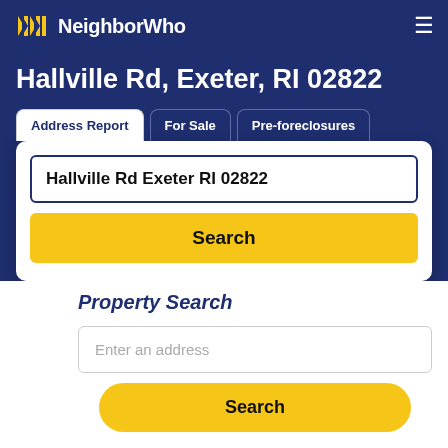NeighborWho
Hallville Rd, Exeter, RI 02822
Address Report | For Sale | Pre-foreclosures
Hallville Rd Exeter RI 02822
Search
Property Search
Enter an address
Search